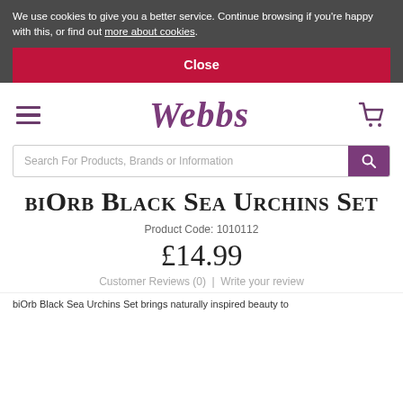We use cookies to give you a better service. Continue browsing if you're happy with this, or find out more about cookies.
Close
[Figure (logo): Webbs logo with hamburger menu icon on left and shopping cart icon on right]
Search For Products, Brands or Information
biOrb Black Sea Urchins Set
Product Code: 1010112
£14.99
Customer Reviews (0) | Write your review
biOrb Black Sea Urchins Set brings naturally inspired beauty to